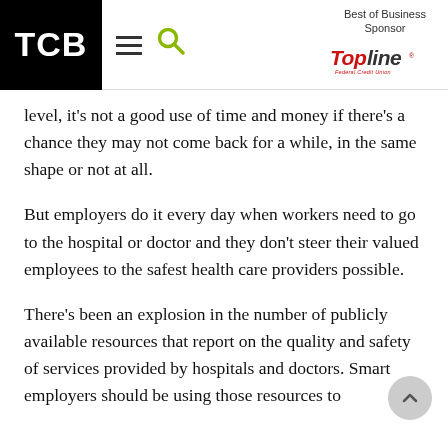TCB | Best of Business Sponsor | TopLine Federal Credit Union
level, it's not a good use of time and money if there's a chance they may not come back for a while, in the same shape or not at all.
But employers do it every day when workers need to go to the hospital or doctor and they don't steer their valued employees to the safest health care providers possible.
There's been an explosion in the number of publicly available resources that report on the quality and safety of services provided by hospitals and doctors. Smart employers should be using those resources to